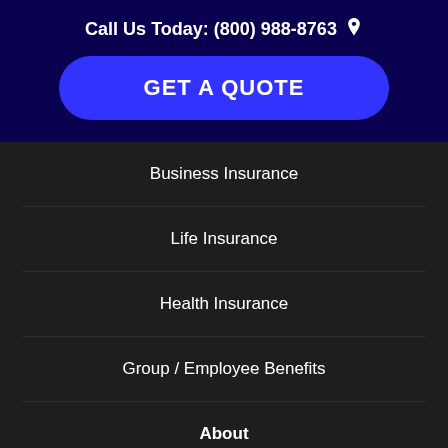Call Us Today: (800) 988-8763
GET A QUOTE
Business Insurance
Life Insurance
Health Insurance
Group / Employee Benefits
About